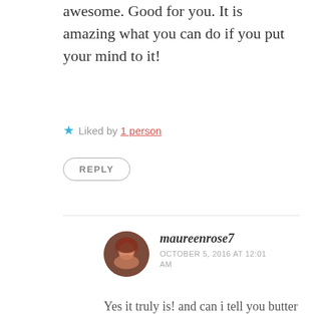awesome. Good for you. It is amazing what you can do if you put your mind to it!
★ Liked by 1 person
REPLY
[Figure (photo): Circular avatar photo of user maureeenrose7, showing a woman with reddish hair]
maureenrose7
OCTOBER 5, 2016 AT 12:01 AM
Yes it truly is! and can i tell you butter real butter with salt was like a side dish to me! hahaa when I use to eat baked potatoes i would use 1/4 of a stick easy on one potato!! 1/4 stick on my broc and carrots i would cover a piece of